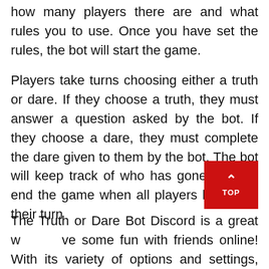how many players there are and what rules you to use. Once you have set the rules, the bot will start the game.
Players take turns choosing either a truth or dare. If they choose a truth, they must answer a question asked by the bot. If they choose a dare, they must complete the dare given to them by the bot. The bot will keep track of who has gone and will end the game when all players have had their turn
The Truth or Dare Bot Discord is a great w    ve some fun with friends online! With its variety of options and settings, you can customize your games to fit your needs. So what are you waiting